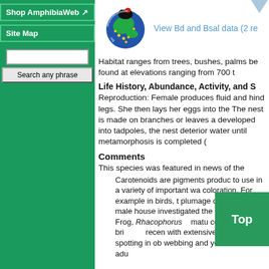Shop AmphibiaWeb
Site Map
Search any phrase
[Figure (logo): AmphibianDisease.org globe logo with frog]
View Bd and Bsal data (2 re
Habitat ranges from trees, bushes, palms. Can be found at elevations ranging from 700 t
Life History, Abundance, Activity, and S
Reproduction: Female produces fluid and hind legs. She then lays her eggs into the. The nest is made on branches or leaves a developed into tadpoles, the nest deterior water until metamorphosis is completed (
Comments
This species was featured in news of the
Carotenoids are pigments produc to use in a variety of important wa coloration. For example in birds, t plumage of breeding male house investigated the rol enoid Frog, Rhacophorus matu coloration from bri recen with extensive white spotting in ob webbing and yellow flanks in adu